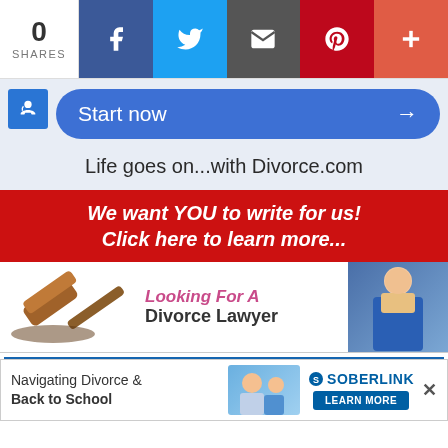[Figure (infographic): Social share bar showing 0 shares with Facebook, Twitter, Email, Pinterest and More icons]
[Figure (infographic): Blue rounded 'Start now' button with arrow, tagline 'Life goes on...with Divorce.com', accessibility icon]
Life goes on...with Divorce.com
[Figure (infographic): Red banner with white italic text: We want YOU to write for us! Click here to learn more...]
[Figure (infographic): Looking For A Divorce Lawyer advertisement banner with gavel image and lawyer figure]
[Figure (infographic): DivorceMag.com back to school advertisement section with Soberlink overlay bar showing Navigating Divorce & Back to School]